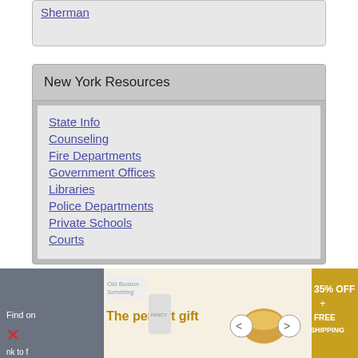Sherman
New York Resources
State Info
Counseling
Fire Departments
Government Offices
Libraries
Police Departments
Private Schools
Courts
[Figure (screenshot): Advertisement banner: 'The perfect gift' with food product images, 35% OFF + FREE SHIPPING]